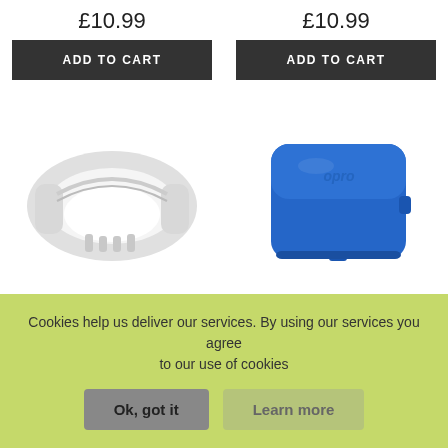£10.99
£10.99
ADD TO CART
ADD TO CART
[Figure (photo): White OPRO adult mouth guard on white background]
[Figure (photo): Blue OPRO antimicrobial mouthguard case on white background]
OPRO ADULT MOUTH GUAR...
OPRO ANTIMICROBIAL MOU...
Cookies help us deliver our services. By using our services you agree to our use of cookies
Ok, got it
Learn more